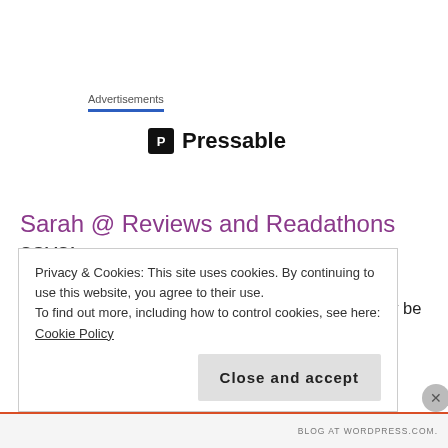Advertisements
[Figure (logo): Pressable logo with dark square icon containing letter P and text 'Pressable']
Sarah @ Reviews and Readathons says:
August 18, 2017 at 02:48
I love the idea of a someday-maybe shelf. That may be something I look into creating while doing my own Down the TBR Hole. I don't blame you about King's Cage too much. I really thought it was the last book...but it's not. I kind of hated the end of it...but I know I'll likely
Privacy & Cookies: This site uses cookies. By continuing to use this website, you agree to their use.
To find out more, including how to control cookies, see here: Cookie Policy
Close and accept